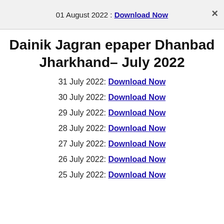01 August 2022 : Download Now
Dainik Jagran epaper Dhanbad Jharkhand– July 2022
31 July 2022: Download Now
30 July 2022: Download Now
29 July 2022: Download Now
28 July 2022: Download Now
27 July 2022: Download Now
26 July 2022: Download Now
25 July 2022: Download Now